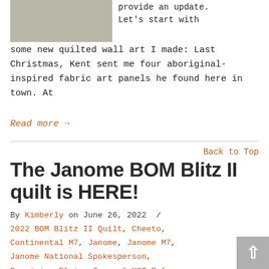[Figure (photo): Partial image of an animal (deer/kangaroo) near a fence or railing, cropped at top]
provide an update. Let's start with some new quilted wall art I made: Last Christmas, Kent sent me four aboriginal-inspired fabric art panels he found here in town. At
Read more →
Back to Top
The Janome BOM Blitz II quilt is HERE!
By Kimberly on June 26, 2022 / 2022 BOM Blitz II Quilt, Cheeto, Continental M7, Janome, Janome M7, Janome National Spokesperson, Precision Flying Geese & HST Ruler,
[Figure (other): Scroll-to-top button in bottom right corner]